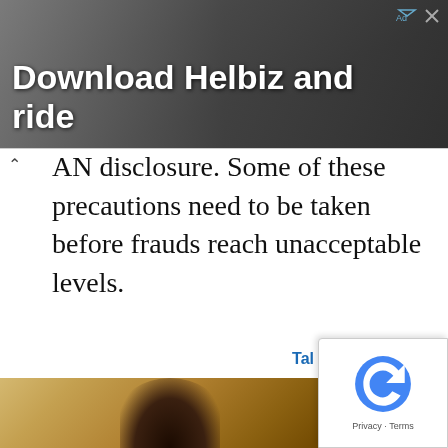[Figure (photo): Advertisement banner showing a person with a camera/scooter, white bold text 'Download Helbiz and ride' on dark background with close/ad icons in top right]
AN disclosure. Some of these precautions need to be taken before frauds reach unacceptable levels.
—The writer is a cyber law and techno-legal information security consultant based in Bengaluru
[Figure (photo): Partial image at bottom of page showing sandy/rocky terrain with a dark rounded shape (possibly a hat)]
[Figure (other): Google reCAPTCHA badge in the bottom right corner with Privacy and Terms text]